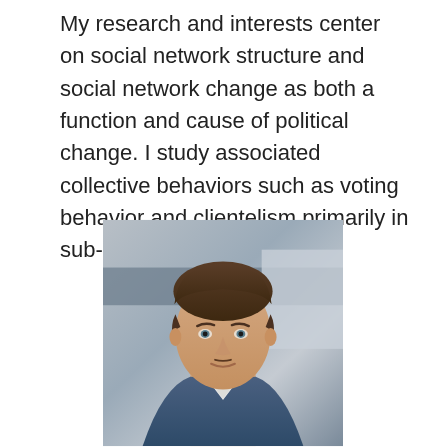My research and interests center on social network structure and social network change as both a function and cause of political change. I study associated collective behaviors such as voting behavior and clientelism primarily in sub-Saharan Africa....
[Figure (photo): Headshot of a young man with light brown hair, wearing a blue sweater and white collared shirt underneath, photographed against a blurred indoor background.]